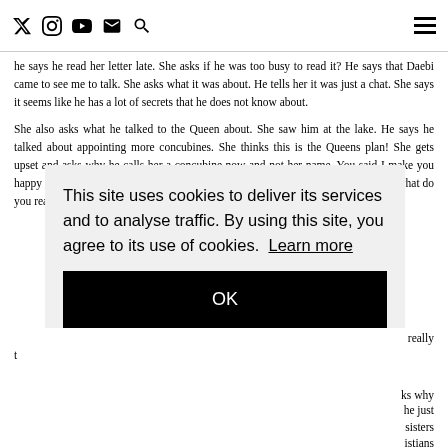Social media navigation icons and hamburger menu
he says he read her letter late. She asks if he was too busy to read it? He says that Daebi came to see me to talk. She asks what it was about. He tells her it was just a chat. She says it seems like he has a lot of secrets that he does not know about.
She also asks what he talked to the Queen about. She saw him at the lake. He says he talked about appointing more concubines. She thinks this is the Queens plan! She gets upset and asks why he calls her a concubine now and not her name. You said I make you happy or sad but now he person that changes your emotions has changed? Tell me, what do you really t
This site uses cookies to deliver its services and to analyse traffic. By using this site, you agree to its use of cookies. Learn more
OK
ks why he just sisters ristians those things and says he doesn't believe that anymore.